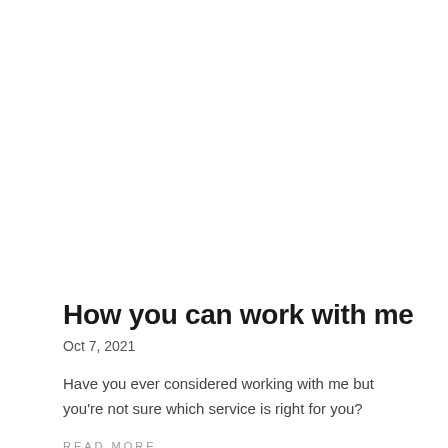How you can work with me
Oct 7, 2021
Have you ever considered working with me but you're not sure which service is right for you?
READ MORE